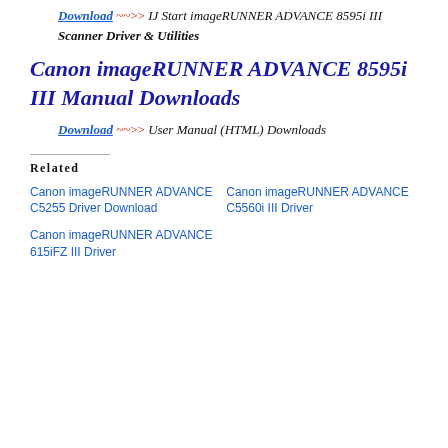Download ~~>> IJ Start imageRUNNER ADVANCE 8595i III Scanner Driver & Utilities
Canon imageRUNNER ADVANCE 8595i III Manual Downloads
Download ~~>> User Manual (HTML) Downloads
Related
Canon imageRUNNER ADVANCE C5255 Driver Download
Canon imageRUNNER ADVANCE C5560i III Driver
Canon imageRUNNER ADVANCE 615iFZ III Driver